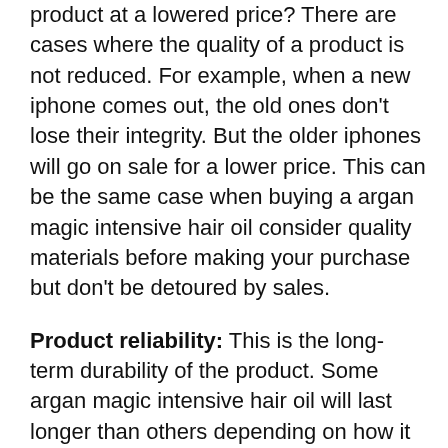product at a lowered price? There are cases where the quality of a product is not reduced. For example, when a new iphone comes out, the old ones don't lose their integrity. But the older iphones will go on sale for a lower price. This can be the same case when buying a argan magic intensive hair oil consider quality materials before making your purchase but don't be detoured by sales.
Product reliability: This is the long-term durability of the product. Some argan magic intensive hair oil will last longer than others depending on how it was made. A sloppy production process will reduce product reliability.